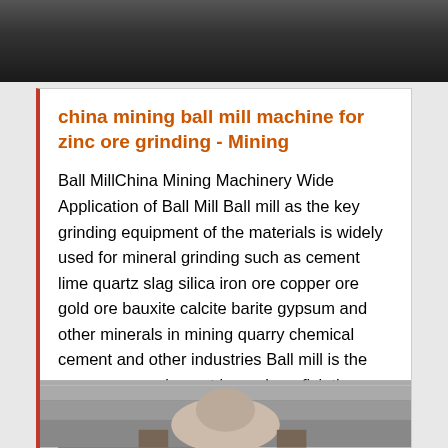[Figure (photo): Dark photo of industrial/mining equipment or vehicles, top of page]
china mining ball mill machine for zinc ore grinding - Mining
Ball MillChina Mining Machinery Wide Application of Ball Mill Ball mill as the key grinding equipment of the materials is widely used for mineral grinding such as cement lime quartz slag silica iron ore copper ore gold ore bauxite calcite barite gypsum and other minerals in mining quarry chemical cement and other industries Ball mill is the necessary equipment in ore beneficiation plant
[Figure (photo): Sepia-toned photo of industrial ball mill or mining machinery equipment]